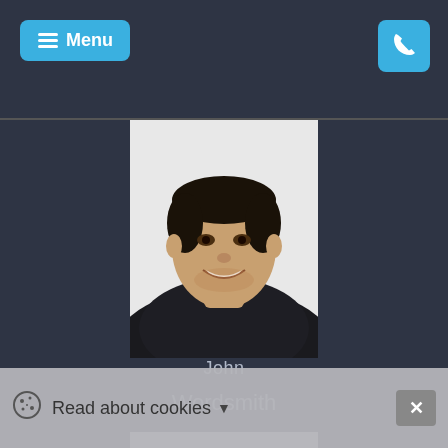Menu | Phone button
[Figure (photo): Portrait photo of a smiling young man wearing a dark knit sweater, photographed against a white/light grey background]
John
Wordsmith
[Figure (photo): Partial portrait photo of another person, cropped at the chin, visible at the bottom of the page]
Read about cookies